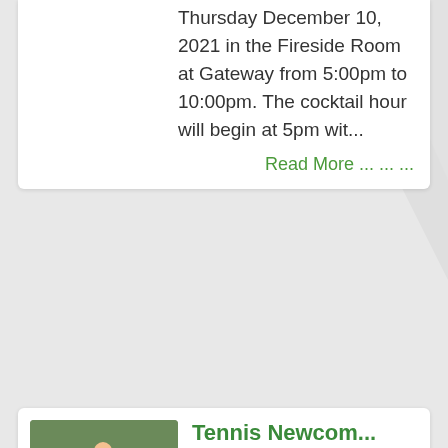Thursday December 10, 2021 in the Fireside Room at Gateway from 5:00pm to 10:00pm.  The cocktail hour will begin at 5pm wit...
Read More ... ... ...
[Figure (photo): Group photo of tennis players holding rackets outdoors]
Tennis Newcom...
Tennis Newcomers Win last Wild Card Tournament  Saturday saw the last Wild Card tournament of the 2021 Season. There was a full card with 12 men and 12 women including five newcomers out for their first tournament with the